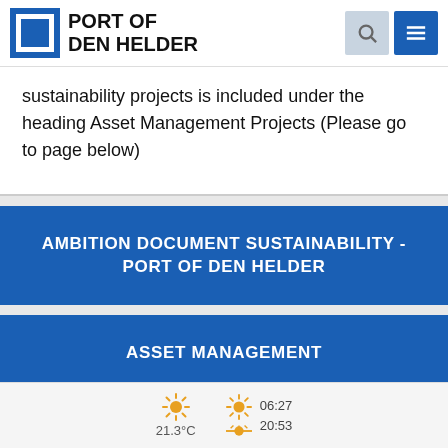PORT OF DEN HELDER
sustainability projects is included under the heading Asset Management Projects (Please go to page below)
AMBITION DOCUMENT SUSTAINABILITY - PORT OF DEN HELDER
ASSET MANAGEMENT
21.3°C  06:27  20:53